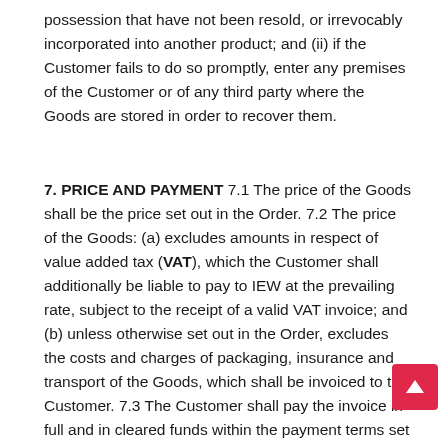possession that have not been resold, or irrevocably incorporated into another product; and (ii) if the Customer fails to do so promptly, enter any premises of the Customer or of any third party where the Goods are stored in order to recover them.
7. PRICE AND PAYMENT 7.1 The price of the Goods shall be the price set out in the Order. 7.2 The price of the Goods: (a) excludes amounts in respect of value added tax (VAT), which the Customer shall additionally be liable to pay to IEW at the prevailing rate, subject to the receipt of a valid VAT invoice; and (b) unless otherwise set out in the Order, excludes the costs and charges of packaging, insurance and transport of the Goods, which shall be invoiced to the Customer. 7.3 The Customer shall pay the invoice in full and in cleared funds within the payment terms set out in the Order or, if none is set out in the Order, within 30 days of the date of invoice. Payment shall be made to the bank account nominated in writing by IEW. Time